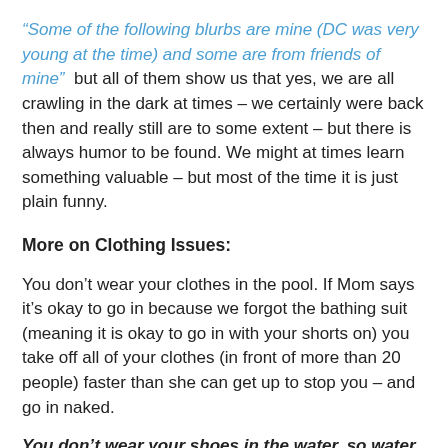“Some of the following blurbs are mine (DC was very young at the time) and some are from friends of mine” but all of them show us that yes, we are all crawling in the dark at times – we certainly were back then and really still are to some extent – but there is always humor to be found. We might at times learn something valuable – but most of the time it is just plain funny.
More on Clothing Issues:
You don’t wear your clothes in the pool. If Mom says it’s okay to go in because we forgot the bathing suit (meaning it is okay to go in with your shorts on) you take off all of your clothes (in front of more than 20 people) faster than she can get up to stop you – and go in naked.
You don’t wear your shoes in the water, so water